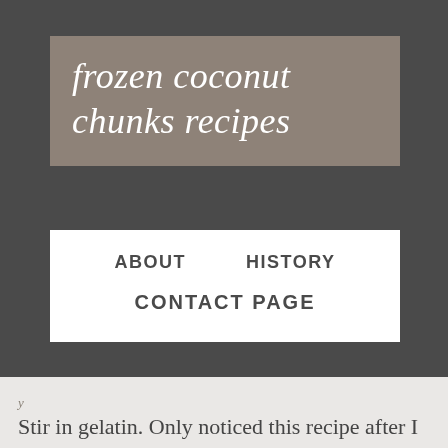frozen coconut chunks recipes
ABOUT    HISTORY    CONTACT PAGE
Stir in gelatin. Only noticed this recipe after I made my own version of pineapple coconut f.y. • In a blender, combine 12 ounces frozen pineapple chunks, ½ cup silver tequila, 2 tablespoons of triple sec, the juice from one